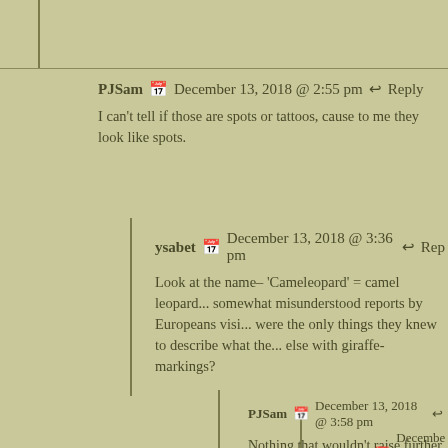PJSam   December 13, 2018 @ 2:55 pm   ↩ Reply
I can't tell if those are spots or tattoos, cause to me they look like spots.
ysabet   December 13, 2018 @ 3:36 pm   ↩ Rep
Look at the name– 'Cameleopard' = camel leopard... somewhat misunderstood reports by Europeans visi... were the only things they knew to describe what the... else with giraffe-markings?
PJSam   December 13, 2018 @ 3:58 pm   ↩
Nothing that wouldn't raise further questions.
Ysabet   December 13, 2018 @ 9:00 p